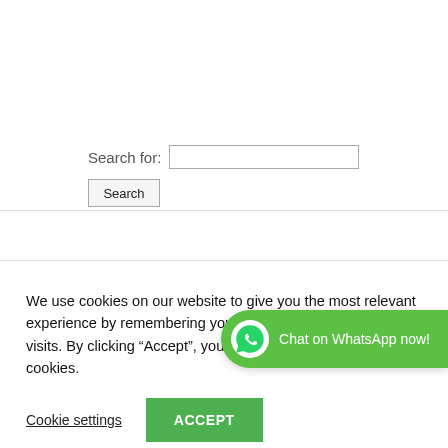Search for:
Search
We use cookies on our website to give you the most relevant experience by remembering your preferences and repeat visits. By clicking “Accept”, you consent to the use of ALL the cookies.
Cookie settings
ACCEPT
[Figure (screenshot): WhatsApp chat bubble overlay with green background and text 'Chat on WhatsApp now!']